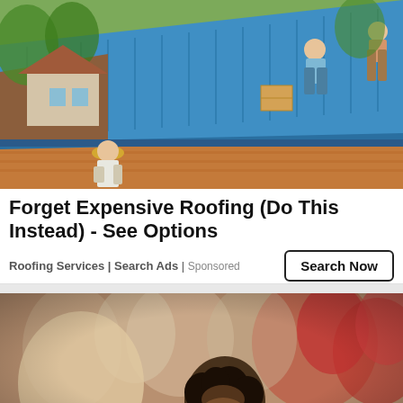[Figure (photo): Workers installing blue metal roofing on a building, with one worker kneeling on the roof and another standing below on the ground wearing a straw hat]
Forget Expensive Roofing (Do This Instead) - See Options
Roofing Services | Search Ads | Sponsored
[Figure (photo): Blurred crowd scene with a person with curly dark hair visible in the foreground]